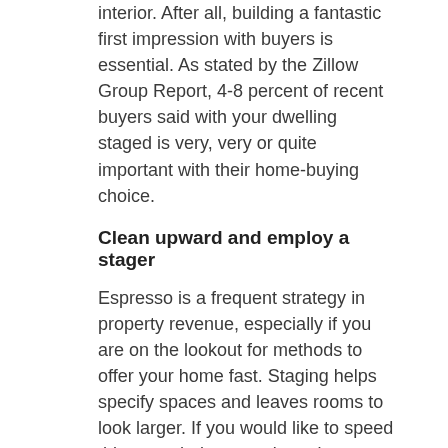interior. After all, building a fantastic first impression with buyers is essential. As stated by the Zillow Group Report, 4-8 percent of recent buyers said with your dwelling staged is very, very or quite important with their home-buying choice.
Clean upward and employ a stager
Espresso is a frequent strategy in property revenue, especially if you are on the lookout for methods to offer your home fast. Staging helps specify spaces and leaves rooms to look larger. If you would like to speed this up technique, you're going to wish to put most of your possessions. A specialist stager provides their own decor and furniture, organizing it in a manner that highlights the house's best features and which makes it seem welcoming and warm.
Your home's exterior will be your first in-house glimpse possible buyers will probably possess one's house, therefore it is crucial that it looks calm, well-maintained